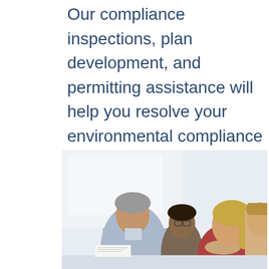Our compliance inspections, plan development, and permitting assistance will help you resolve your environmental compliance challenges.
LEARN MORE ▶
[Figure (photo): Group of professionals gathered around a table, appearing to review documents or work collaboratively. Includes an older person with gray hair leaning over the table and younger individuals including a woman with blonde hair in the foreground.]